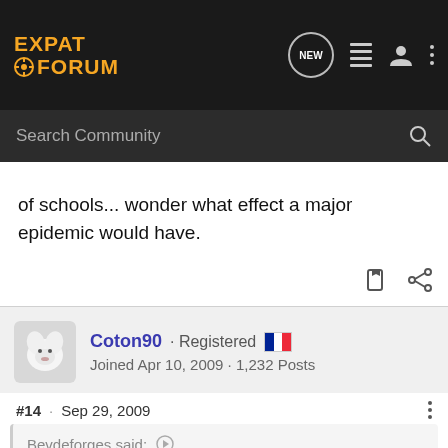EXPAT FORUM
of schools... wonder what effect a major epidemic would have.
Coton90 · Registered
Joined Apr 10, 2009 · 1,232 Posts
#14 · Sep 29, 2009
Bevdeforges said:
The police situation where you are may be related to the way the French justice system is organized. I don't totally understand how the system is organized in France, but there are a couple factors that seem significant: